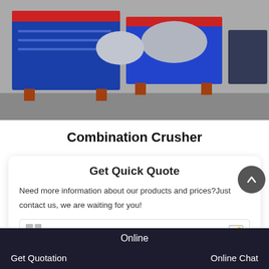[Figure (photo): Industrial combination crusher machines with blue metal frames and red accents, photographed outdoors on concrete ground]
Combination Crusher
Get Quick Quote
Need more information about our products and prices?Just contact us, we are waiting for you!
Product Name*
Online | Get Quotation | Online Chat